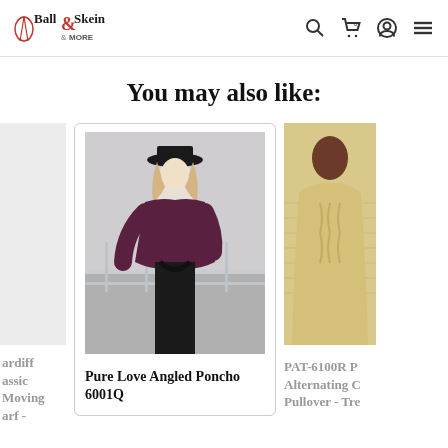Ball & Skein & More
You may also like:
[Figure (photo): Product card showing a woman wearing a purple angled poncho and black wide-brim hat, standing at a railing]
Pure Love Angled Poncho 6001Q
[Figure (photo): Partial product card on right showing a person in a yellow/cream knit pullover sweater]
PAT-6100R P Alternating C Pullover - Tre